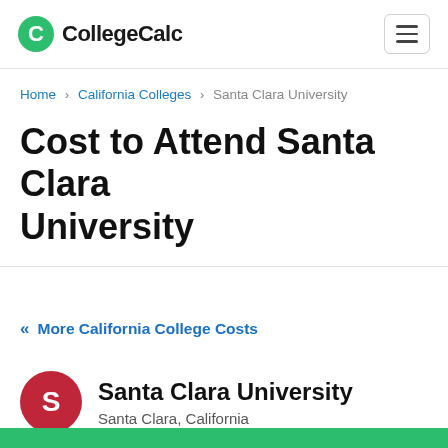CollegeCalc
Home > California Colleges > Santa Clara University
Cost to Attend Santa Clara University
« More California College Costs
Santa Clara University
Santa Clara, California